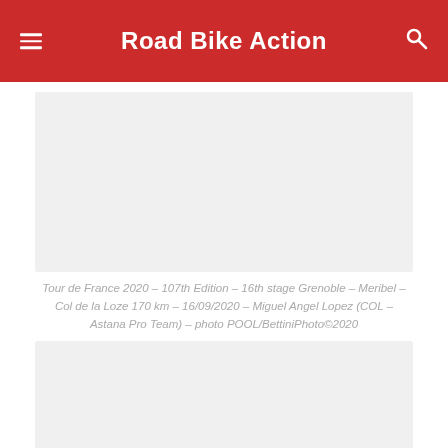Road Bike Action
[Figure (photo): Photo placeholder — Tour de France 2020 stage image (empty/loading)]
Tour de France 2020 – 107th Edition – 16th stage Grenoble – Meribel – Col de la Loze 170 km – 16/09/2020 – Miguel Angel Lopez (COL – Astana Pro Team) – photo POOL/BettiniPhoto©2020
[Figure (photo): Second photo placeholder — Tour de France 2020 image (empty/loading)]